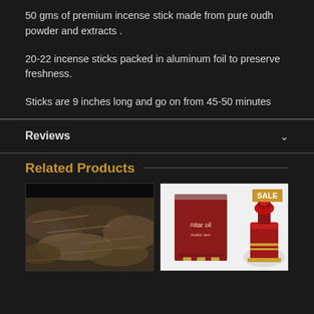50 gms of premium incense stick made from pure oudh powder and extracts .
20-22 incense sticks packed in aluminum foil to preserve freshness.
Sticks are 9 inches long and go on from 45-50 minutes
Reviews
Related Products
[Figure (photo): Product image of raw oudh/incense material - dried woody fibrous material in close-up]
[Figure (photo): Product image showing a red box with Arabic text labeled 'Attar oil' and a red decorative perfume bottle with gold accents, with a SALE badge]